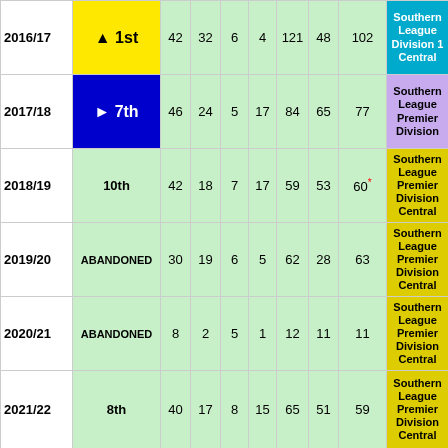| Season | Pos | P | W | D | L | F | A | Pts | League |
| --- | --- | --- | --- | --- | --- | --- | --- | --- | --- |
| 2016/17 | ▲ 1st | 42 | 32 | 6 | 4 | 121 | 48 | 102 | Southern League Division 1 Central |
| 2017/18 | ► 7th | 46 | 24 | 5 | 17 | 84 | 65 | 77 | Southern League Premier Division |
| 2018/19 | 10th | 42 | 18 | 7 | 17 | 59 | 53 | 60* | Southern League Premier Division Central |
| 2019/20 | ABANDONED | 30 | 19 | 6 | 5 | 62 | 28 | 63 | Southern League Premier Division Central |
| 2020/21 | ABANDONED | 8 | 2 | 5 | 1 | 12 | 11 | 11 | Southern League Premier Division Central |
| 2021/22 | 8th | 40 | 17 | 8 | 15 | 65 | 51 | 59 | Southern League Premier Division Central |